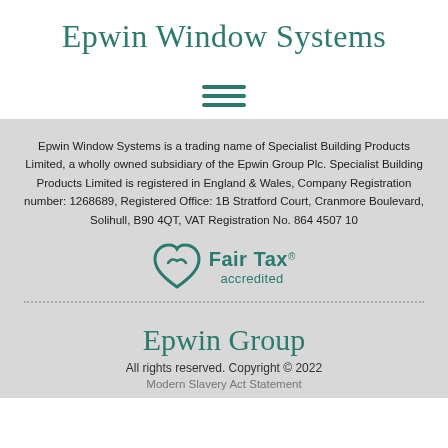Epwin Window Systems
[Figure (illustration): Three horizontal teal lines forming a hamburger/menu icon]
Epwin Window Systems is a trading name of Specialist Building Products Limited, a wholly owned subsidiary of the Epwin Group Plc. Specialist Building Products Limited is registered in England & Wales, Company Registration number: 1268689, Registered Office: 1B Stratford Court, Cranmore Boulevard, Solihull, B90 4QT, VAT Registration No. 864 4507 10
[Figure (logo): Fair Tax accredited logo with heart icon and teal text]
Epwin Group
All rights reserved. Copyright © 2022
Modern Slavery Act Statement